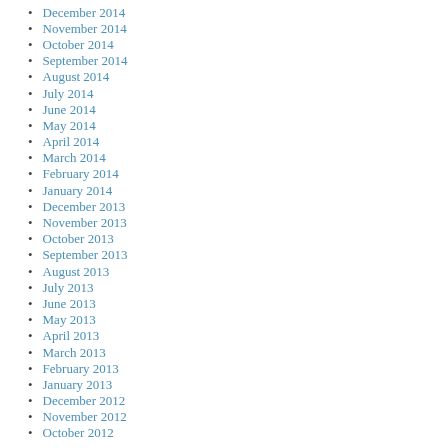December 2014
November 2014
October 2014
September 2014
August 2014
July 2014
June 2014
May 2014
April 2014
March 2014
February 2014
January 2014
December 2013
November 2013
October 2013
September 2013
August 2013
July 2013
June 2013
May 2013
April 2013
March 2013
February 2013
January 2013
December 2012
November 2012
October 2012